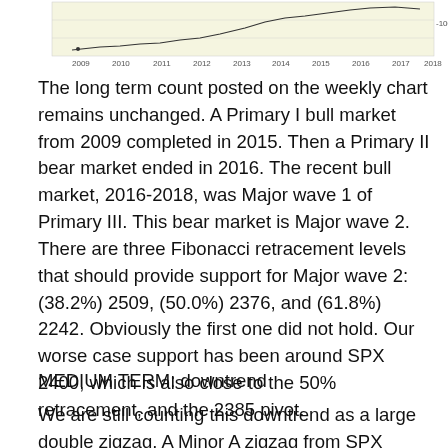[Figure (continuous-plot): Partial view of a weekly stock chart (SPX) showing price trend from approximately 2009 to 2018, with a rising trend line. Y-axis label shows value around 100 on right side.]
The long term count posted on the weekly chart remains unchanged. A Primary I bull market from 2009 completed in 2015. Then a Primary II bear market ended in 2016. The recent bull market, 2016-2018, was Major wave 1 of Primary III. This bear market is Major wave 2. There are three Fibonacci retracement levels that should provide support for Major wave 2: (38.2%) 2509, (50.0%) 2376, and (61.8%) 2242. Obviously the first one did not hold. Our worse case support has been around SPX 2400, which is also close to the 50% retracement, and the 2385 pivot.
MEDIUM TERM: downtrend
We are still counting this downtrend as a large double zigzag. A Minor A zigzag from SPX 2941-2604. The...